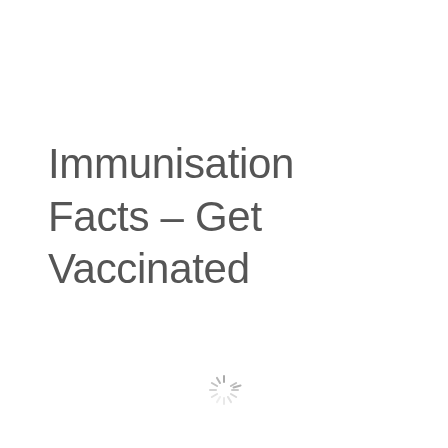Immunisation Facts – Get Vaccinated
[Figure (illustration): A spinner/loading icon with radiating lines arranged in a circular starburst pattern, rendered in light gray]